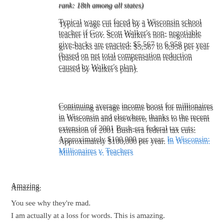rank: 18th among all states)
Typical wage cut faced by a Wisconsin school teacher if Gov. Scott Walker's non- negotiable give-backs are enacted: $5,567 to 6,958 per year (based on net total compensation reduction caused by Walker's plan).
Continuing average income boost for millionaires in Wisconsin and elsewhere, thanks to the recent extension of 2001 Bush-era federal tax cuts: Approximately $100,000 per year. In Wisconsin: Millionaires v. Teachers
Amazing.
You see why they're mad.
I am actually at a loss for words. This is amazing.
If the State of Wisconsin increased taxes on resident millionaires to take back just one-